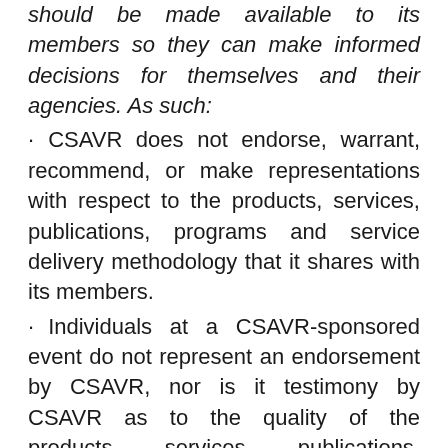should be made available to its members so they can make informed decisions for themselves and their agencies. As such:
CSAVR does not endorse, warrant, recommend, or make representations with respect to the products, services, publications, programs and service delivery methodology that it shares with its members.
Individuals at a CSAVR-sponsored event do not represent an endorsement by CSAVR, nor is it testimony by CSAVR as to the quality of the products, services, publications, programs and service delivery methodology or the validity of